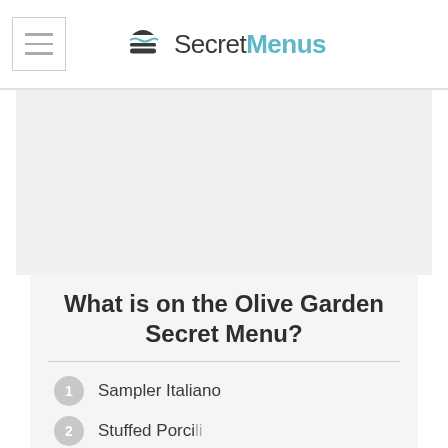SecretMenus
[Figure (other): Advertisement placeholder area (gray box)]
What is on the Olive Garden Secret Menu?
1. Sampler Italiano
2. Stuffed Porcini...